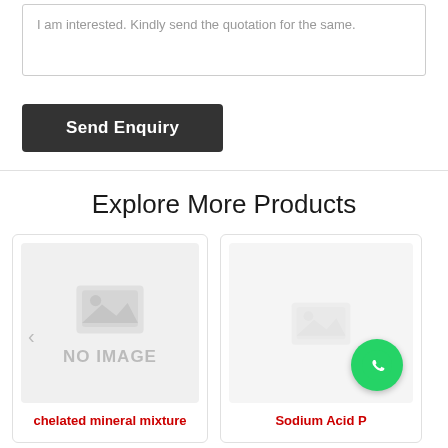I am interested. Kindly send the quotation for the same.
Send Enquiry
Explore More Products
[Figure (other): Product card with no image placeholder and label 'chelated mineral mixture']
[Figure (other): Partial product card with placeholder image and label 'Sodium Acid ...' and WhatsApp icon]